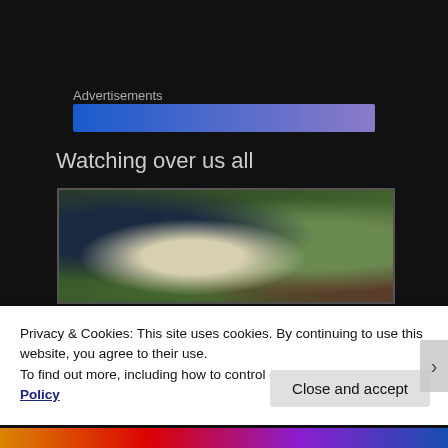Advertisements
[Figure (other): Blue/purple gradient advertisement loading bar]
Watching over us all
[Figure (photo): Blurry close-up nature photograph showing dark object on left, blurred white/cream center, and green background]
Privacy & Cookies: This site uses cookies. By continuing to use this website, you agree to their use.
To find out more, including how to control cookies, see here: Cookie Policy
Close and accept